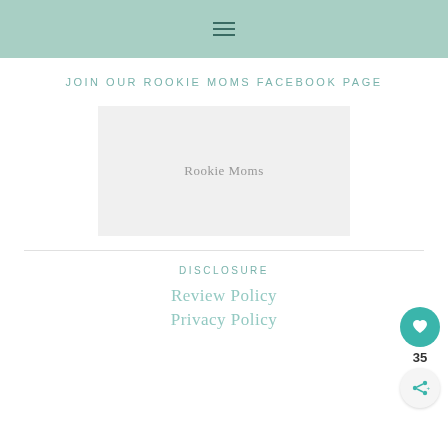≡ (hamburger menu icon)
JOIN OUR ROOKIE MOMS FACEBOOK PAGE
[Figure (other): Facebook page embed placeholder box showing 'Rookie Moms' text in gray]
DISCLOSURE
Review Policy
Privacy Policy